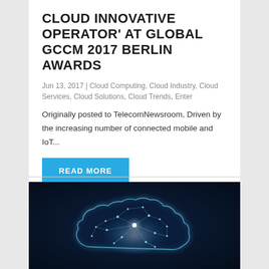CLOUD INNOVATIVE OPERATOR' AT GLOBAL GCCM 2017 BERLIN AWARDS
Jun 13, 2017 | Cloud Computing, Cloud Industry, Cloud Services, Cloud Solutions, Cloud Trends, Enter
Originally posted to TelecomNewsroom, Driven by the increasing number of connected mobile and IoT...
READ MORE
[Figure (photo): Glowing digital cloud shape made of connected network nodes on a dark blue background]